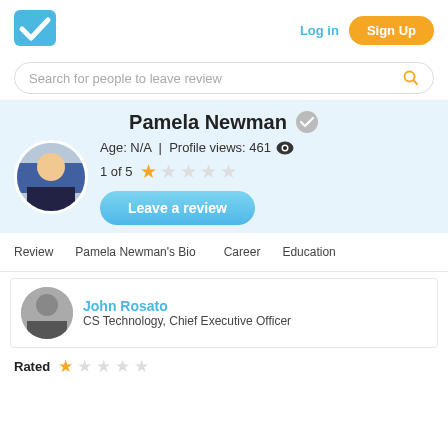[Figure (logo): Blue checkmark logo icon]
Log in
Sign Up
Search for people to leave review
Pamela Newman
Age: N/A | Profile views: 461
1 of 5 ★☆☆☆☆
Leave a review
Review
Pamela Newman's Bio
Career
Education
John Rosato
CS Technology, Chief Executive Officer
Rated ★☆☆☆☆